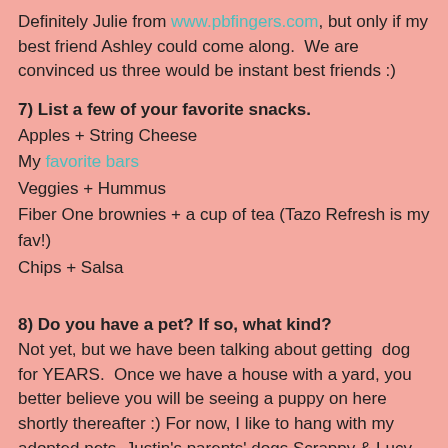Definitely Julie from www.pbfingers.com, but only if my best friend Ashley could come along.  We are convinced us three would be instant best friends :)
7) List a few of your favorite snacks.
Apples + String Cheese
My favorite bars
Veggies + Hummus
Fiber One brownies + a cup of tea (Tazo Refresh is my fav!)
Chips + Salsa
8) Do you have a pet? If so, what kind?
Not yet, but we have been talking about getting  dog for YEARS.  Once we have a house with a yard, you better believe you will be seeing a puppy on here shortly thereafter :) For now, I like to hang with my adopted pets, Justin's parents' dogs Scrappy & Lucy, and my mom's dog Rosie.